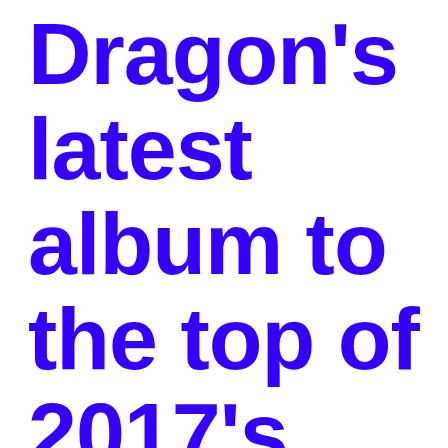Dragon's latest album to the top of 2017's zeitgeist.